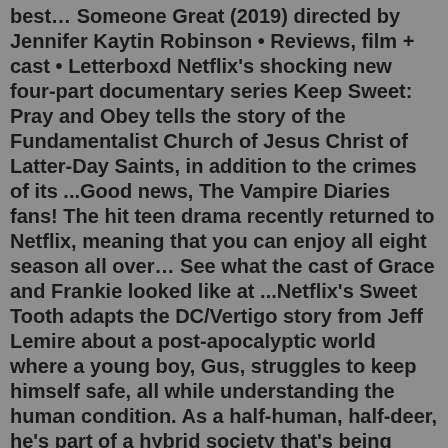best… Someone Great (2019) directed by Jennifer Kaytin Robinson • Reviews, film + cast • Letterboxd Netflix's shocking new four-part documentary series Keep Sweet: Pray and Obey tells the story of the Fundamentalist Church of Jesus Christ of Latter-Day Saints, in addition to the crimes of its ...Good news, The Vampire Diaries fans! The hit teen drama recently returned to Netflix, meaning that you can enjoy all eight season all over… See what the cast of Grace and Frankie looked like at ...Netflix's Sweet Tooth adapts the DC/Vertigo story from Jeff Lemire about a post-apocalyptic world where a young boy, Gus, struggles to keep himself safe, all while understanding the human condition. As a half-human, half-deer, he's part of a hybrid society that's being hunted by people who blame them for a deadly pandemic that's been dwindling the population and giving rise to more hybrids ...A new release for the 2021 Spooky Season, "Nightbooks" is a solid Halloween movie for a younger crowd. Based on the novel of the same name by J.A. White, the story opens